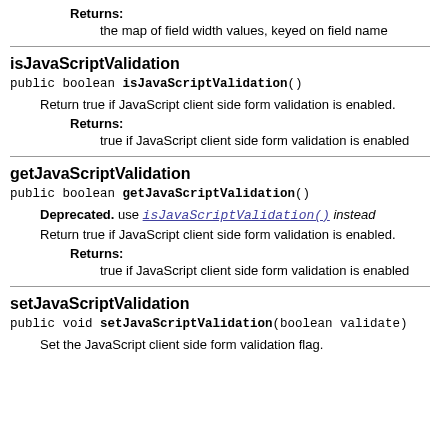Returns: the map of field width values, keyed on field name
isJavaScriptValidation
public boolean isJavaScriptValidation()
Return true if JavaScript client side form validation is enabled.
Returns: true if JavaScript client side form validation is enabled
getJavaScriptValidation
public boolean getJavaScriptValidation()
Deprecated. use isJavaScriptValidation() instead
Return true if JavaScript client side form validation is enabled.
Returns: true if JavaScript client side form validation is enabled
setJavaScriptValidation
public void setJavaScriptValidation(boolean validate)
Set the JavaScript client side form validation flag.